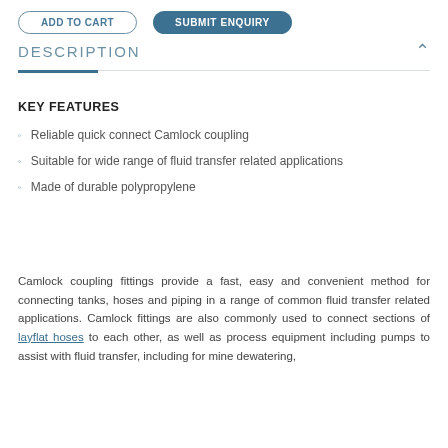[Figure (screenshot): Two buttons at the top: an outlined 'ADD TO CART' button and a filled teal 'SUBMIT ENQUIRY' button]
DESCRIPTION
KEY FEATURES
Reliable quick connect Camlock coupling
Suitable for wide range of fluid transfer related applications
Made of durable polypropylene
Camlock coupling fittings provide a fast, easy and convenient method for connecting tanks, hoses and piping in a range of common fluid transfer related applications. Camlock fittings are also commonly used to connect sections of layflat hoses to each other, as well as process equipment including pumps to assist with fluid transfer, including for mine dewatering,